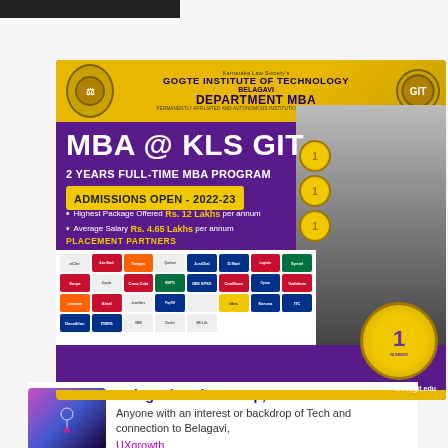[Figure (infographic): MBA @ KLS GIT advertisement banner for Gogte Institute of Technology, Department MBA, Belagavi. Shows admissions open 2022-23, highest package Rs. 12 Lakhs per annum, average salary Rs. 4.65 Lakhs per annum. Placement partners logos shown. Website www.git.edu.]
Belagavi Tech Meetup, 2022
Anyone with an interest or backdrop of Tech and connection to Belagavi,
UXgrowth